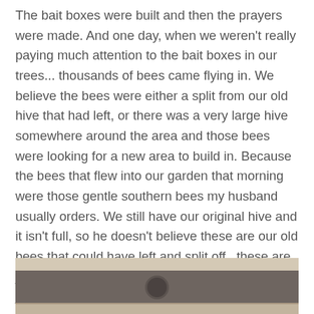The bait boxes were built and then the prayers were made. And one day, when we weren't really paying much attention to the bait boxes in our trees... thousands of bees came flying in. We believe the bees were either a split from our old hive that had left, or there was a very large hive somewhere around the area and those bees were looking for a new area to build in. Because the bees that flew into our garden that morning were those gentle southern bees my husband usually orders. We still have our original hive and it isn't full, so he doesn't believe these are our old bees that could have left and split off...these are just bees, the bees we had hoped for, and they just showed up one day
[Figure (photo): Partial photo showing wooden beehive structure with dark metal or hardware element visible at bottom center]